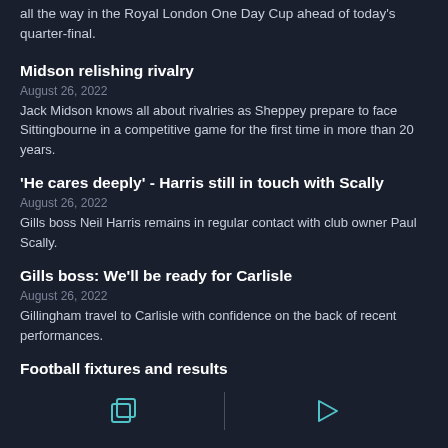all the way in the Royal London One Day Cup ahead of today's quarter-final.
Midson relishing rivalry
August 26, 2022
Jack Midson knows all about rivalries as Sheppey prepare to face Sittingbourne in a competitive game for the first time in more than 20 years.
'He cares deeply' - Harris still in touch with Scally
August 26, 2022
Gills boss Neil Harris remains in regular contact with club owner Paul Scally.
Gills boss: We'll be ready for Carlisle
August 26, 2022
Gillingham travel to Carlisle with confidence on the back of recent performances.
Football fixtures and results
[Figure (other): Two icon buttons separated by a vertical divider line: a copy/duplicate icon on the left and a play/forward icon on the right]